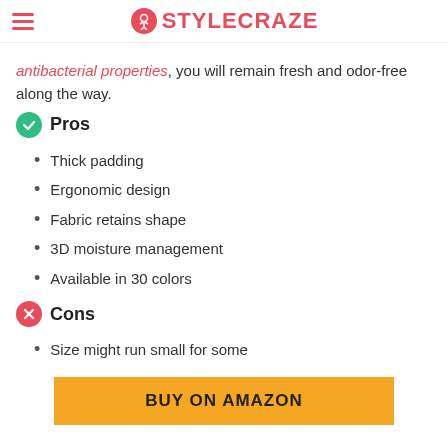STYLECRAZE
antibacterial properties, you will remain fresh and odor-free along the way.
Pros
Thick padding
Ergonomic design
Fabric retains shape
3D moisture management
Available in 30 colors
Cons
Size might run small for some
BUY ON AMAZON